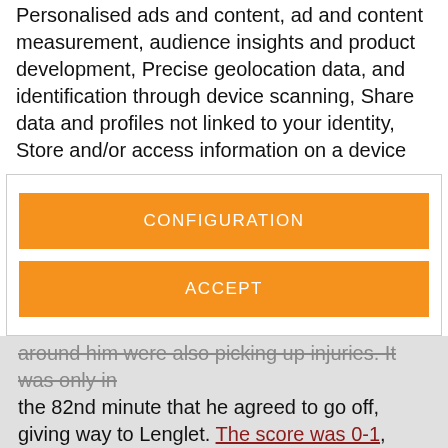Personalised ads and content, ad and content measurement, audience insights and product development, Precise geolocation data, and identification through device scanning, Share data and profiles not linked to your identity, Store and/or access information on a device
[Figure (screenshot): Cookie consent banner with two orange buttons: CONFIGURATION and ACCEPT]
around him were also picking up injuries. It was only in the 82nd minute that he agreed to go off, giving way to Lenglet. The score was 0-1, Aubameyang got the goal in the 10th minute, and that's how it would end. Barça passed the test and move back to second place.
Tagged in: Gerard Piqué   Real Betis   Valencia   Aubameyang